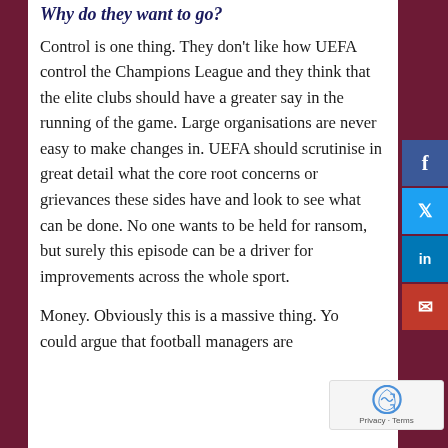Why do they want to go?
Control is one thing. They don't like how UEFA control the Champions League and they think that the elite clubs should have a greater say in the running of the game. Large organisations are never easy to make changes in. UEFA should scrutinise in great detail what the core root concerns or grievances these sides have and look to see what can be done. No one wants to be held for ransom, but surely this episode can be a driver for improvements across the whole sport.
Money. Obviously this is a massive thing. You could argue that football managers are